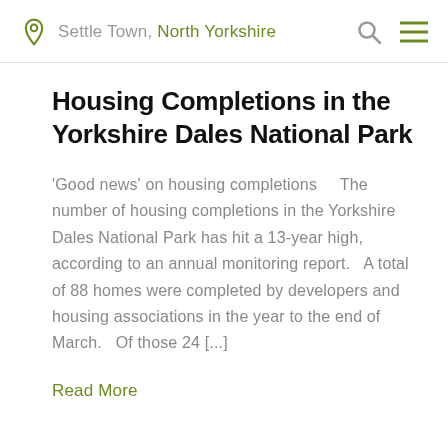Settle Town, North Yorkshire
Housing Completions in the Yorkshire Dales National Park
'Good news' on housing completions   The number of housing completions in the Yorkshire Dales National Park has hit a 13-year high, according to an annual monitoring report.  A total of 88 homes were completed by developers and housing associations in the year to the end of March.  Of those 24 [...]
Read More